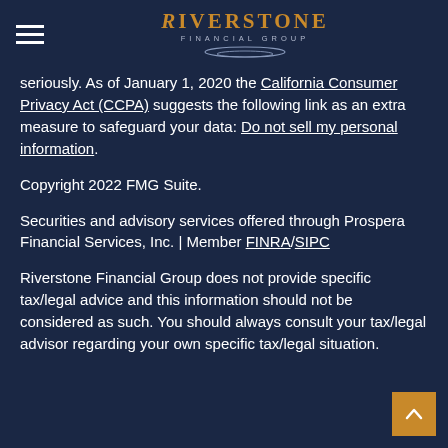Riverstone Financial Group
seriously. As of January 1, 2020 the California Consumer Privacy Act (CCPA) suggests the following link as an extra measure to safeguard your data: Do not sell my personal information.
Copyright 2022 FMG Suite.
Securities and advisory services offered through Prospera Financial Services, Inc. | Member FINRA/SIPC
Riverstone Financial Group does not provide specific tax/legal advice and this information should not be considered as such. You should always consult your tax/legal advisor regarding your own specific tax/legal situation.